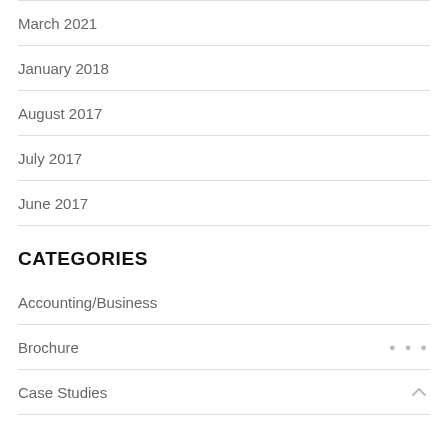March 2021
January 2018
August 2017
July 2017
June 2017
CATEGORIES
Accounting/Business
Brochure
Case Studies